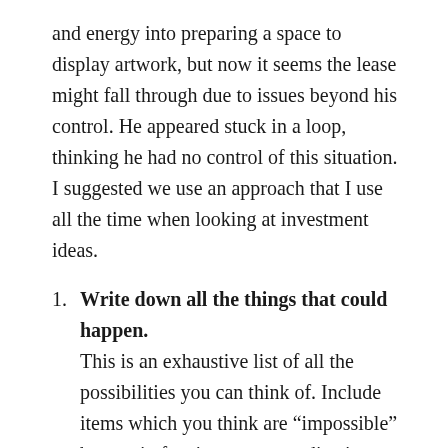and energy into preparing a space to display artwork, but now it seems the lease might fall through due to issues beyond his control. He appeared stuck in a loop, thinking he had no control of this situation. I suggested we use an approach that I use all the time when looking at investment ideas.
Write down all the things that could happen. This is an exhaustive list of all the possibilities you can think of. Include items which you think are “impossible” but are in fact just ones you dismiss because they seem too hard. I lead the way by insisting on putting an idea down he has previously told